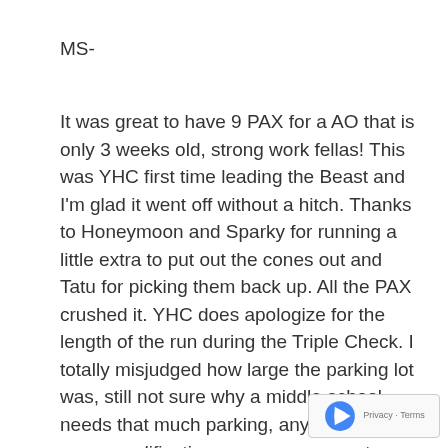MS-
It was great to have 9 PAX for a AO that is only 3 weeks old, strong work fellas!  This was YHC first time leading the Beast and I'm glad it went off without a hitch.  Thanks to Honeymoon and Sparky for running a little extra to put out the cones out and Tatu for picking them back up.  All the PAX crushed it.  YHC does apologize for the length of the run during the Triple Check.  I totally misjudged how large the parking lot was, still not sure why a middle school needs that much parking, anyway after some modification on everyones part we were all good.  Total distance was just over 2 miles for the day.  Honored to lead this group of men this morning!  Have a blessed day, please keep Houston in your prayers